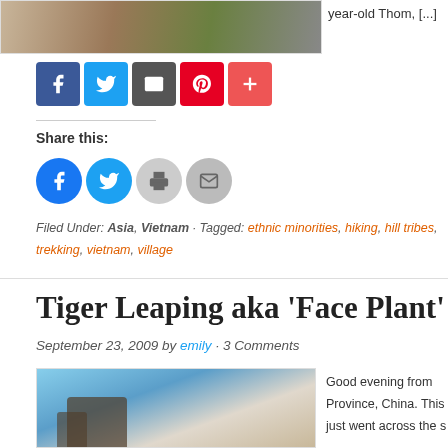[Figure (photo): Cropped photo of people, partial view]
year-old Thom, [...]
[Figure (infographic): Social media share buttons: Facebook, Twitter, Email/Share, Pinterest, Plus]
Share this:
[Figure (infographic): Circular social share buttons: Facebook, Twitter, Print, Email]
Filed Under: Asia, Vietnam · Tagged: ethnic minorities, hiking, hill tribes, trekking, vietnam, village
Tiger Leaping aka 'Face Plant' Gorg
September 23, 2009 by emily · 3 Comments
[Figure (photo): Photo of people outdoors, blue sky background]
Good evening from Province, China. This just went across the s